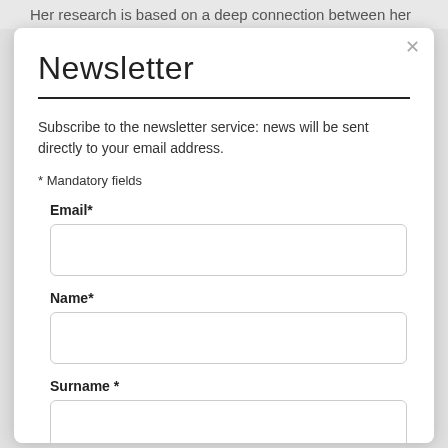Her research is based on a deep connection between her
Newsletter
Subscribe to the newsletter service: news will be sent directly to your email address.
* Mandatory fields
Email*
Name*
Surname *